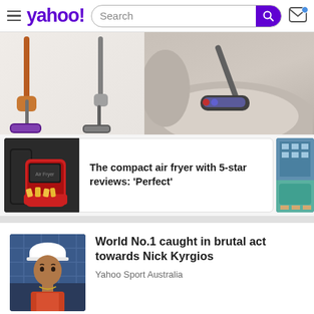yahoo! [search bar] [mail icon]
[Figure (photo): Banner showing Dyson vacuum cleaners on left and a Dyson vacuum cleaning a pet bed on right]
[Figure (photo): Article card with red air fryer thumbnail]
The compact air fryer with 5-star reviews: 'Perfect'
[Figure (photo): Partial article card showing swimming pool/hotel]
[Figure (photo): News article thumbnail: Nick Kyrgios portrait]
World No.1 caught in brutal act towards Nick Kyrgios
Yahoo Sport Australia